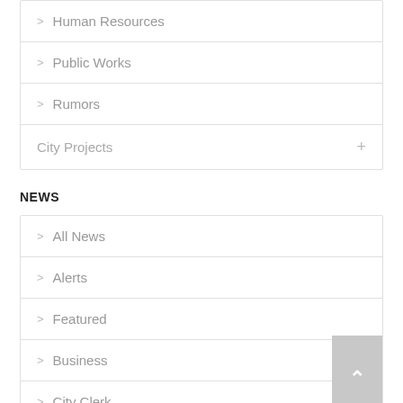> Human Resources
> Public Works
> Rumors
City Projects +
NEWS
> All News
> Alerts
> Featured
> Business
> City Clerk